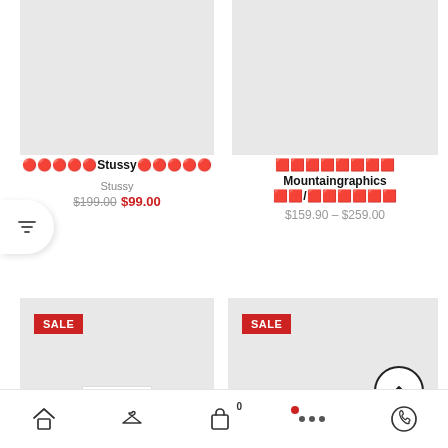[Figure (screenshot): Product image placeholder - grey box for Stussy item (top left)]
トレンドStussy ロゴ Tee
Stussy
$199.00  $99.00
[Figure (screenshot): Product image placeholder - grey box for Mountaingraphics item (top right)]
サイドプリント Mountaingraphics 長袖/オーバーサイズ
$159.90 – $259.00
[Figure (screenshot): SALE product image placeholder bottom left with SALE badge]
[Figure (screenshot): SALE product image placeholder bottom right with SALE badge]
Home | Clothes | Cart 0 | More | WhatsApp